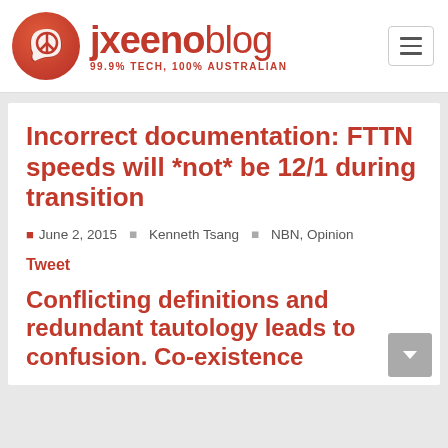jxeeno blog — 99.9% TECH, 100% AUSTRALIAN
Incorrect documentation: FTTN speeds will *not* be 12/1 during transition
June 2, 2015   Kenneth Tsang   NBN, Opinion
Tweet
Conflicting definitions and redundant tautology leads to confusion. Co-existence and Dark Information